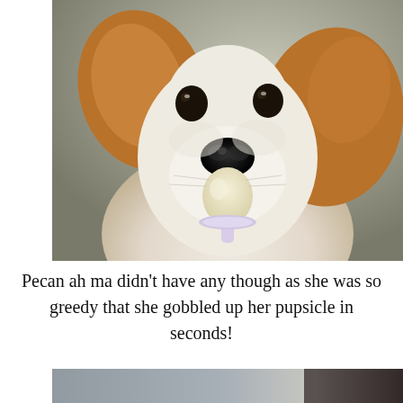[Figure (photo): Close-up photo of a small white and tan terrier dog licking a small pale yellow popsicle/treat on a stick, shot from below with blurred background.]
Pecan ah ma didn't have any though as she was so greedy that she gobbled up her pupsicle in seconds!

Scary-
[Figure (photo): Partial bottom photo showing a blurred grey/blue background with a dark surface, possibly the beginning of another image.]